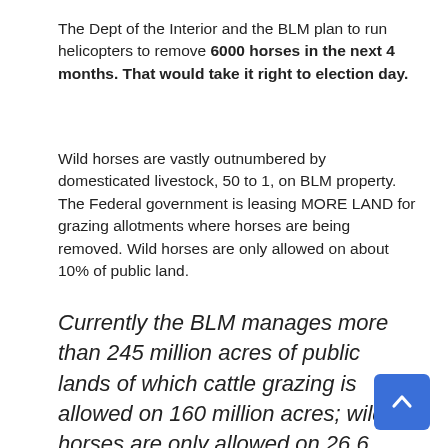The Dept of the Interior and the BLM plan to run helicopters to remove 6000 horses in the next 4 months.  That would take it right to election day.
Wild horses are vastly outnumbered by domesticated livestock, 50 to 1, on BLM property.  The Federal government is leasing MORE LAND for grazing allotments where horses are being removed.  Wild horses are only allowed on about 10% of public land.
Currently the BLM manages more than 245 million acres of public lands of which cattle grazing is allowed on 160 million acres; wild horses are only allowed on 26.6 million acres